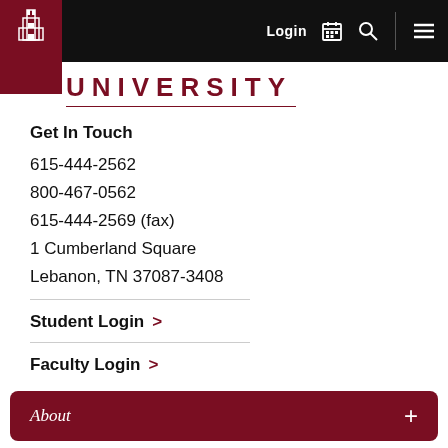[Figure (logo): University navigation bar with dark background, logo banner with tower icon on left, Login text, calendar icon, search icon, and menu icon on right]
UNIVERSITY
Get In Touch
615-444-2562
800-467-0562
615-444-2569 (fax)
1 Cumberland Square
Lebanon, TN 37087-3408
Student Login >
Faculty Login >
About +